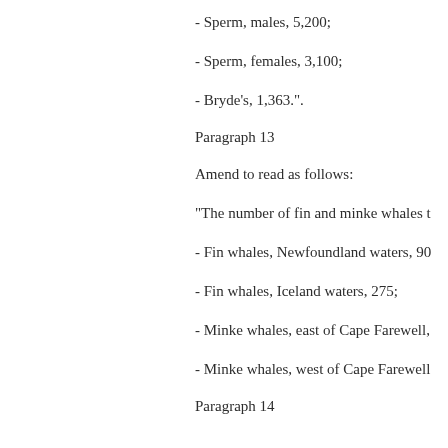- Sperm, males, 5,200;
- Sperm, females, 3,100;
- Bryde's, 1,363.".
Paragraph 13
Amend to read as follows:
"The number of fin and minke whales t
- Fin whales, Newfoundland waters, 90
- Fin whales, Iceland waters, 275;
- Minke whales, east of Cape Farewell,
- Minke whales, west of Cape Farewell
Paragraph 14